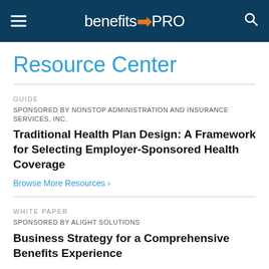benefitsPRO
Resource Center
GUIDE
SPONSORED BY NONSTOP ADMINISTRATION AND INSURANCE SERVICES, INC.
Traditional Health Plan Design: A Framework for Selecting Employer-Sponsored Health Coverage
Browse More Resources ›
WHITE PAPER
SPONSORED BY ALIGHT SOLUTIONS
Business Strategy for a Comprehensive Benefits Experience